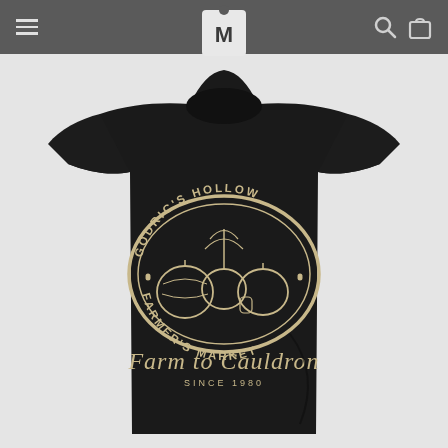Navigation header with menu, logo, search and cart icons
[Figure (photo): Black women's t-shirt with a vintage-style circular graphic on the chest reading 'Godric's Hollow Farmer's Market' with pumpkins illustration, and below 'Farm to Cauldron Since 1980' in script font]